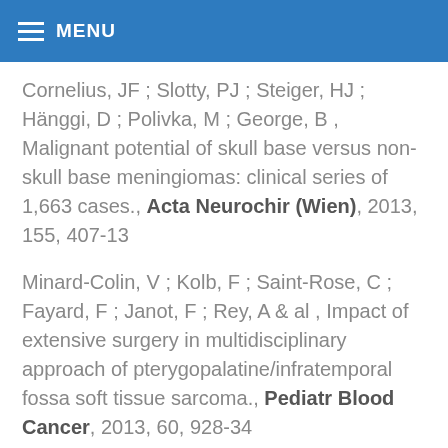MENU
Cornelius, JF ; Slotty, PJ ; Steiger, HJ ; Hänggi, D ; Polivka, M ; George, B , Malignant potential of skull base versus non-skull base meningiomas: clinical series of 1,663 cases., Acta Neurochir (Wien), 2013, 155, 407-13
Minard-Colin, V ; Kolb, F ; Saint-Rose, C ; Fayard, F ; Janot, F ; Rey, A & al , Impact of extensive surgery in multidisciplinary approach of pterygopalatine/infratemporal fossa soft tissue sarcoma., Pediatr Blood Cancer, 2013, 60, 928-34